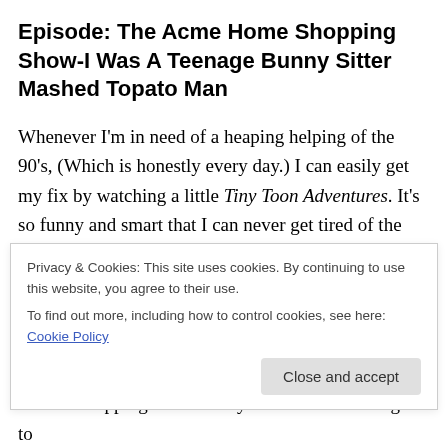Episode: The Acme Home Shopping Show-I Was A Teenage Bunny Sitter
Mashed Topato Man
Whenever I'm in need of a heaping helping of the 90's, (Which is honestly every day.) I can easily get my fix by watching a little Tiny Toon Adventures. It's so funny and smart that I can never get tired of the show. Every time I watch it, I find something that I never noticed before, whether it's a pop culture reference, gag, or just a lovely bit of acting or animation. And episodes that I never paid
Privacy & Cookies: This site uses cookies. By continuing to use this website, you agree to their use.
To find out more, including how to control cookies, see here: Cookie Policy
a home shopping network. By the time the show gets to